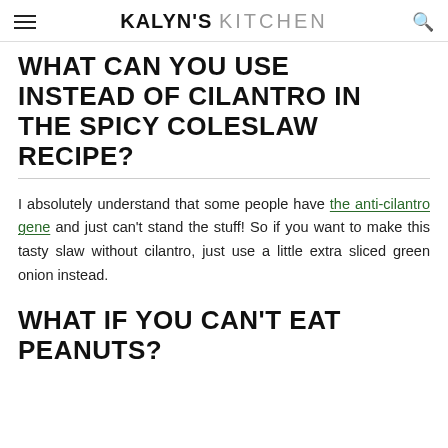KALYN'S KITCHEN
WHAT CAN YOU USE INSTEAD OF CILANTRO IN THE SPICY COLESLAW RECIPE?
I absolutely understand that some people have the anti-cilantro gene and just can't stand the stuff! So if you want to make this tasty slaw without cilantro, just use a little extra sliced green onion instead.
WHAT IF YOU CAN'T EAT PEANUTS?